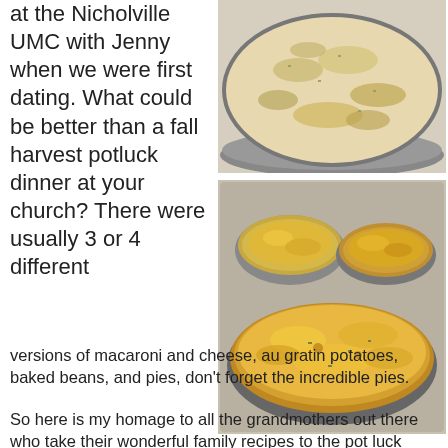at the Nicholville UMC with Jenny when we were first dating.  What could be better than a fall harvest potluck dinner at your church?  There were usually 3 or 4 different
[Figure (photo): Top-down view of a casserole dish with macaroni and cheese or similar baked dish with breadcrumb topping]
[Figure (photo): Multiple oval baking dishes filled with au gratin potatoes or similar cheesy baked casseroles with golden breadcrumb topping, arranged on a baking sheet]
versions of macaroni and cheese, au gratin potatoes, baked beans, and pies, don’t forget the incredible pies.
So here is my homage to all the grandmothers out there who take their wonderful family recipes to the pot luck dinners at